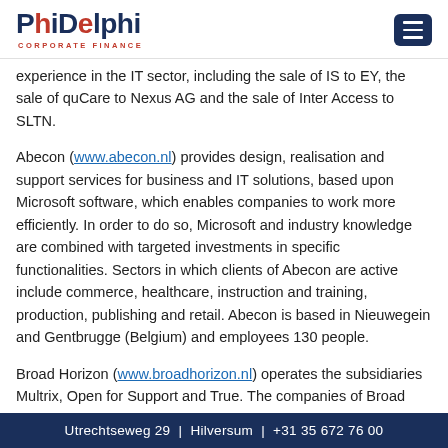[Figure (logo): PhiDelphi Corporate Finance logo with red dots and menu burger button]
experience in the IT sector, including the sale of IS to EY, the sale of quCare to Nexus AG and the sale of Inter Access to SLTN.
Abecon (www.abecon.nl) provides design, realisation and support services for business and IT solutions, based upon Microsoft software, which enables companies to work more efficiently. In order to do so, Microsoft and industry knowledge are combined with targeted investments in specific functionalities. Sectors in which clients of Abecon are active include commerce, healthcare, instruction and training, production, publishing and retail. Abecon is based in Nieuwegein and Gentbrugge (Belgium) and employees 130 people.
Broad Horizon (www.broadhorizon.nl) operates the subsidiaries Multrix, Open for Support and True. The companies of Broad Horizon offer tailor-made web and working environments to improve the agility of organisations. Together the subsidiaries of Broad Horizon cover the entire range of enterprise-class cloud solutions. Broad Horizon is based in Amsterdam and employees 100
Utrechtseweg 29 | Hilversum | +31 35 672 76 00